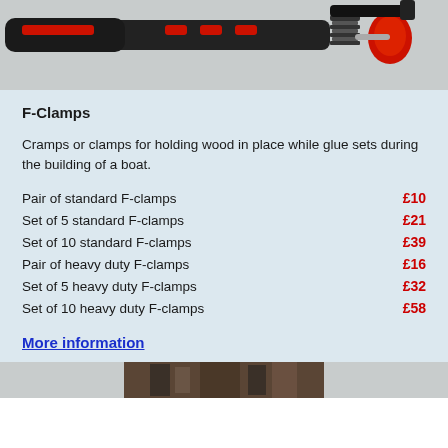[Figure (photo): Close-up photo of an F-clamp tool with black handle and red components against a grey background]
F-Clamps
Cramps or clamps for holding wood in place while glue sets during the building of a boat.
Pair of standard F-clamps  £10
Set of 5 standard F-clamps  £21
Set of 10 standard F-clamps  £39
Pair of heavy duty F-clamps  £16
Set of 5 heavy duty F-clamps  £32
Set of 10 heavy duty F-clamps  £58
More information